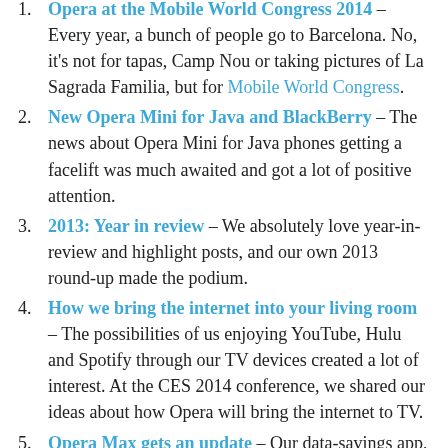Opera at the Mobile World Congress 2014 – Every year, a bunch of people go to Barcelona. No, it's not for tapas, Camp Nou or taking pictures of La Sagrada Familia, but for Mobile World Congress.
New Opera Mini for Java and BlackBerry – The news about Opera Mini for Java phones getting a facelift was much awaited and got a lot of positive attention.
2013: Year in review – We absolutely love year-in-review and highlight posts, and our own 2013 round-up made the podium.
How we bring the internet into your living room – The possibilities of us enjoying YouTube, Hulu and Spotify through our TV devices created a lot of interest. At the CES 2014 conference, we shared our ideas about how Opera will bring the internet to TV.
Opera Max gets an update – Our data-savings app, Opera Max created a lot of attention last year, and received a lot of love in return from the